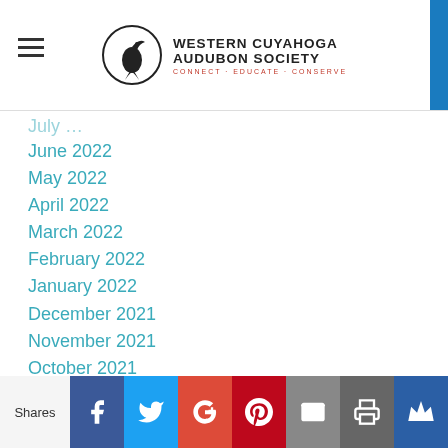Western Cuyahoga Audubon Society — Connect · Educate · Conserve
June 2022
May 2022
April 2022
March 2022
February 2022
January 2022
December 2021
November 2021
October 2021
September 2021
August 2021
July 2021
June 2021
May 2021
April 2021
Shares | Facebook | Twitter | Google+ | Pinterest | Email | Print | Crown